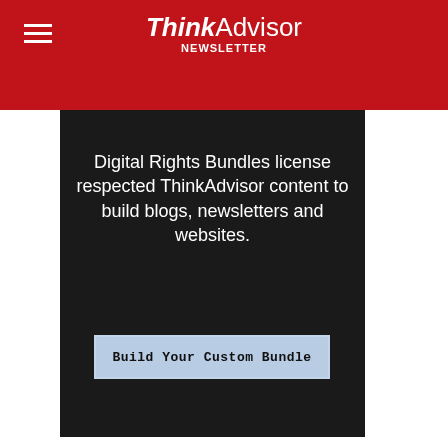ThinkAdvisor Newsletter
[Figure (screenshot): Dark background advertisement block for ThinkAdvisor Digital Rights Bundles with headline 'leadership content?' in blue, body text describing Digital Rights Bundles, and a 'Build Your Custom Bundle' button]
leadership content?
Digital Rights Bundles license respected ThinkAdvisor content to build blogs, newsletters and websites.
Build Your Custom Bundle